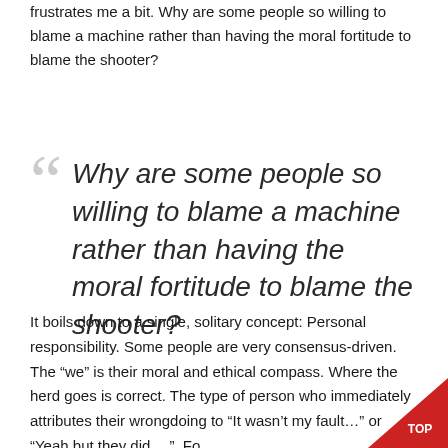frustrates me a bit. Why are some people so willing to blame a machine rather than having the moral fortitude to blame the shooter?
Why are some people so willing to blame a machine rather than having the moral fortitude to blame the shooter?
It boils down to a single, solitary concept: Personal responsibility. Some people are very consensus-driven. The “we” is their moral and ethical compass. Where the herd goes is correct. The type of person who immediately attributes their wrongdoing to “It wasn’t my fault…” or “Yeah but they did….”. Fo